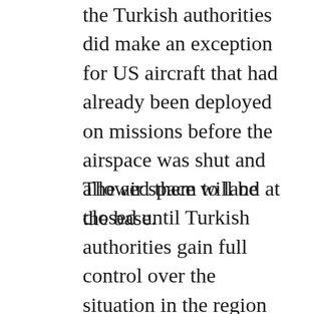the Turkish authorities did make an exception for US aircraft that had already been deployed on missions before the airspace was shut and allowed them to land at the base.
The air space will be closed until Turkish authorities gain full control over the situation in the region following the coup attempt, Turkish officials told the US, adding that they want to make sure that all elements of the Turkish air force are under the control of pro-government forces, as some warplanes and helicopters were used by rebels